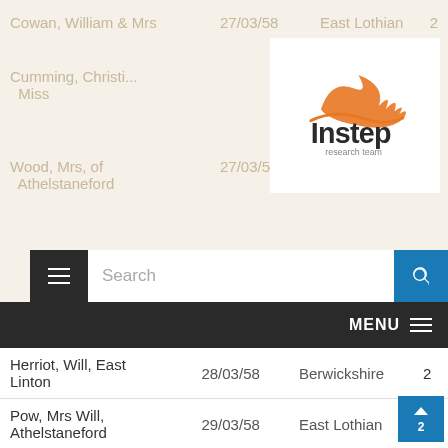[Figure (logo): Instep research team logo — orange flame/wave graphic above the word 'Instep' and subtitle 'research team']
| Name | Date | County | # |
| --- | --- | --- | --- |
| Cowan, William & Mrs | 27/03/58 | East Lothian | 2 |
| Cumming, Christine / Miss | 27/03/58 | East Lothian | 2 |
| Wood, Mrs, of Athelstaneford | 27/03/58 | East Lothian | 2 |
| Craig, Mrs, East Linton | 28/03/58 | Berwickshire | 2 |
| Herriot, Will, East Linton | 28/03/58 | Berwickshire | 2 |
| Pow, Mrs Will, Athelstaneford | 29/03/58 | East Lothian | 2 |
| Wood, Thomas, Dirleton | 29/03/58 | East Lothian | 2 |
| Barry, Henry & Mrs | 29/03/58 | East Lothian | 2 |
| Kirkcaldy, David & Mrs | 29/03/58 | East Lothian | 2 |
| Adamson, William, Fife | 30/03/58 | Fife | 2 |
| Wood, Mrs, of ... | 31/03/58 | Roxburghshire | 2 |